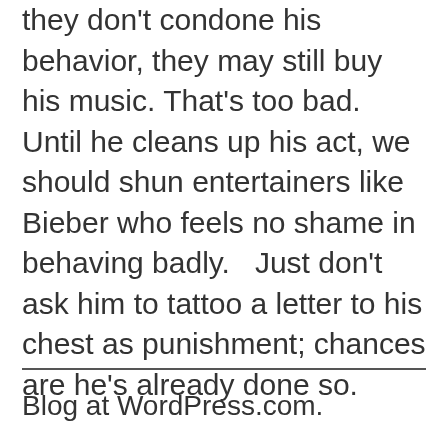they don't condone his behavior, they may still buy his music. That's too bad.  Until he cleans up his act, we should shun entertainers like Bieber who feels no shame in behaving badly.   Just don't ask him to tattoo a letter to his chest as punishment; chances are he's already done so.
Blog at WordPress.com.